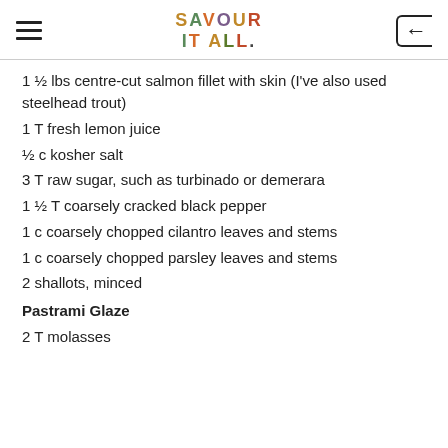SAVOUR IT ALL.
1 ½ lbs centre-cut salmon fillet with skin (I've also used steelhead trout)
1 T fresh lemon juice
½ c kosher salt
3 T raw sugar, such as turbinado or demerara
1 ½ T coarsely cracked black pepper
1 c coarsely chopped cilantro leaves and stems
1 c coarsely chopped parsley leaves and stems
2 shallots, minced
Pastrami Glaze
2 T molasses